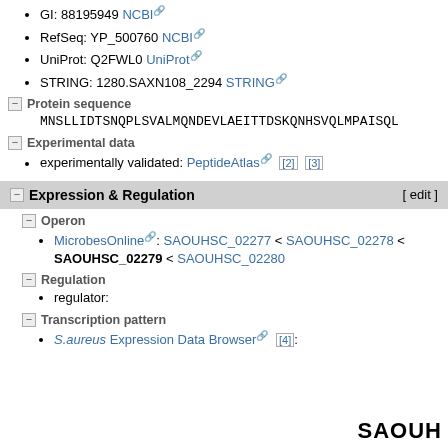GI: 88195949 NCBI
RefSeq: YP_500760 NCBI
UniProt: Q2FWL0 UniProt
STRING: 1280.SAXN108_2294 STRING
Protein sequence
MNSLLIDTSNQPLSVALMQNDEVLAEITTDSKQNHSVQLMPAISQL
Experimental data
experimentally validated: PeptideAtlas [2] [3]
Expression & Regulation [ edit ]
Operon
MicrobesOnline: SAOUHSC_02277 < SAOUHSC_02278 < SAOUHSC_02279 < SAOUHSC_02280
Regulation
regulator:
Transcription pattern
S.aureus Expression Data Browser [4]:
SAOUH